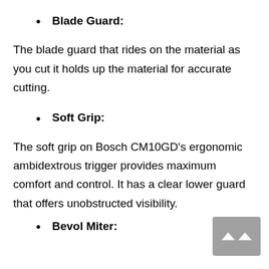Blade Guard:
The blade guard that rides on the material as you cut it holds up the material for accurate cutting.
Soft Grip:
The soft grip on Bosch CM10GD’s ergonomic ambidextrous trigger provides maximum comfort and control. It has a clear lower guard that offers unobstructed visibility.
Bevol Miter: